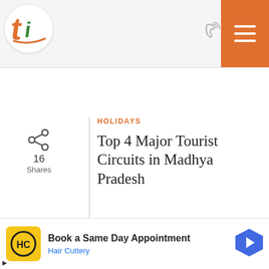[Figure (logo): Tripoto logo with stylized orange and green 't' and 'i' letters on white circle background]
[Figure (screenshot): Phone/call icon]
[Figure (infographic): Orange hamburger menu button with three white horizontal lines]
[Figure (infographic): Share icon with count: 16 Shares]
HOLIDAYS
Top 4 Major Tourist Circuits in Madhya Pradesh
[Figure (photo): Collage of 4 tourist site photos from Madhya Pradesh showing rivers, temples, palaces and ghats]
[Figure (infographic): Advertisement: Book a Same Day Appointment - Hair Cuttery with HC logo and navigation arrow]